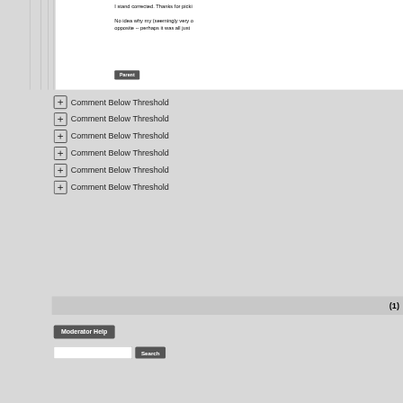I stand corrected. Thanks for picki
No idea why my (seemingly very o opposite -- perhaps it was all just
Parent
Comment Below Threshold
Comment Below Threshold
Comment Below Threshold
Comment Below Threshold
Comment Below Threshold
Comment Below Threshold
(1)
Moderator Help
Search